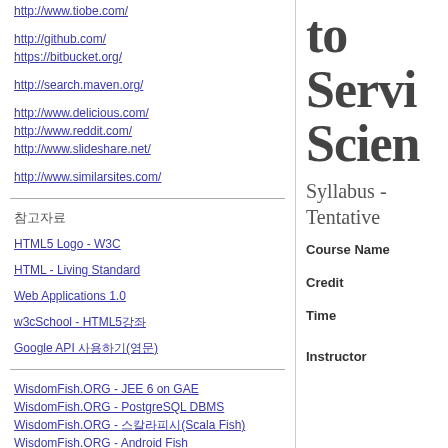http://www.tiobe.com/
http://github.com/
https://bitbucket.org/
http://search.maven.org/
http://www.delicious.com/
http://www.reddit.com/
http://www.slideshare.net/
http://www.similarsites.com/
참고자료
HTML5 Logo - W3C
HTML - Living Standard
Web Applications 1.0
w3cSchool - HTML5강좌
Google API 사용하기(영문)
WisdomFish.ORG - JEE 6 on GAE
WisdomFish.ORG - PostgreSQL DBMS
WisdomFish.ORG - 스칼라피시(Scala Fish)
WisdomFish.ORG - Android Fish
WisdomFish.ORG - JEE6 -SVN Course SVN
to Servi Scien
Syllabus - Tentative
Course Name
Credit
Time
Instructor